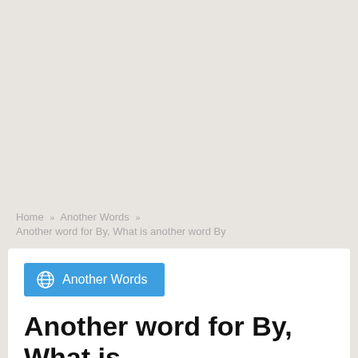Home » Another Words »
Another word for By, What is another word By
[Figure (illustration): Blue button with globe icon labeled 'Another Words']
Another word for By, What is another word By